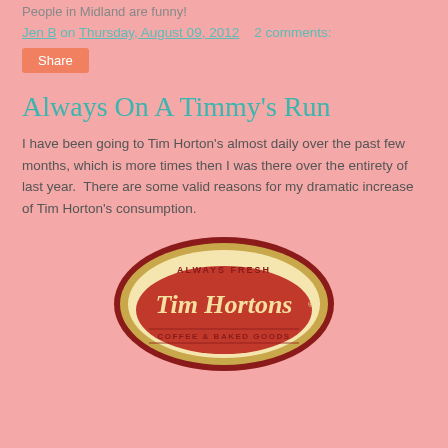People in Midland are funny!
Jen B on Thursday, August 09, 2012   2 comments:
Share
Always On A Timmy's Run
I have been going to Tim Horton's almost daily over the past few months, which is more times then I was there over the entirety of last year.  There are some valid reasons for my dramatic increase of Tim Horton's consumption.
[Figure (logo): Tim Hortons logo - oval shaped logo with text 'ALWAYS FRESH', 'Tim Hortons', 'COFFEE & BAKED GOODS' in red and gold colors]